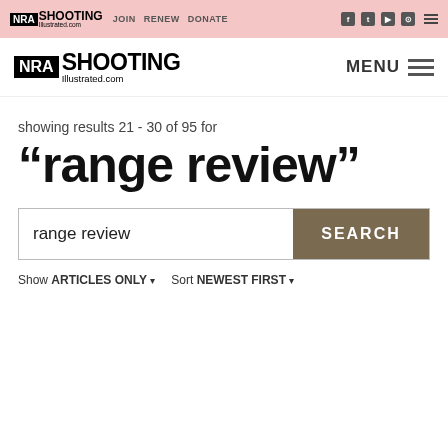NRA Shooting Illustrated.com — JOIN  RENEW  DONATE
NRA Shooting Illustrated.com — MENU
showing results 21 - 30 of 95 for
“range review”
range review   SEARCH
Show ARTICLES ONLY ▾   Sort NEWEST FIRST ▾